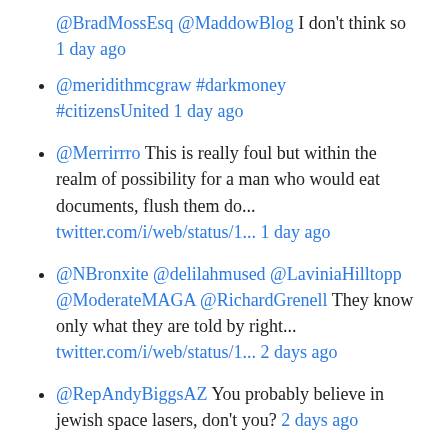@BradMossEsq @MaddowBlog I don't think so 1 day ago
@meridithmcgraw #darkmoney #citizensUnited 1 day ago
@Merrirrro This is really foul but within the realm of possibility for a man who would eat documents, flush them do... twitter.com/i/web/status/1... 1 day ago
@NBronxite @delilahmused @LaviniaHilltopp @ModerateMAGA @RichardGrenell They know only what they are told by right... twitter.com/i/web/status/1... 2 days ago
@RepAndyBiggsAZ You probably believe in jewish space lasers, don't you? 2 days ago